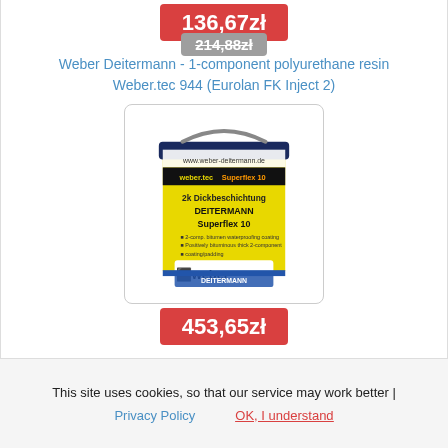136,67zł
214,88zł
Weber Deitermann - 1-component polyurethane resin Weber.tec 944 (Eurolan FK Inject 2)
[Figure (photo): Yellow paint bucket labeled 'weber.tec Superflex 10' / DEITERMANN Superflex 10 - 2k Dickbeschichtung, with Weber Deitermann branding]
453,65zł
This site uses cookies, so that our service may work better |
Privacy Policy
OK, I understand